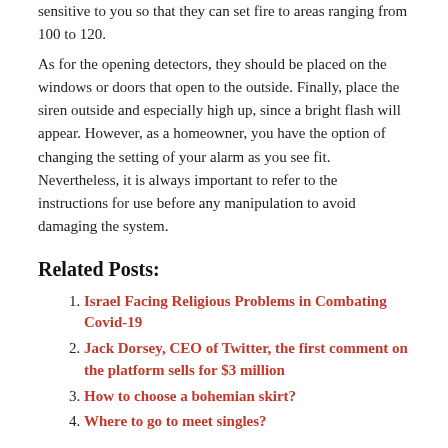sensitive to you so that they can set fire to areas ranging from 100 to 120.
As for the opening detectors, they should be placed on the windows or doors that open to the outside. Finally, place the siren outside and especially high up, since a bright flash will appear. However, as a homeowner, you have the option of changing the setting of your alarm as you see fit. Nevertheless, it is always important to refer to the instructions for use before any manipulation to avoid damaging the system.
Related Posts:
Israel Facing Religious Problems in Combating Covid-19
Jack Dorsey, CEO of Twitter, the first comment on the platform sells for $3 million
How to choose a bohemian skirt?
Where to go to meet singles?
Posted in Other